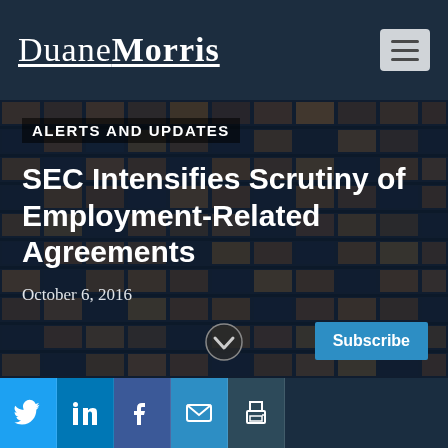Duane Morris
ALERTS AND UPDATES
SEC Intensifies Scrutiny of Employment-Related Agreements
October 6, 2016
[Figure (photo): Nighttime office building with lit windows, dark blue tones]
Subscribe
Social media icons: Twitter, LinkedIn, Facebook, Email, Print